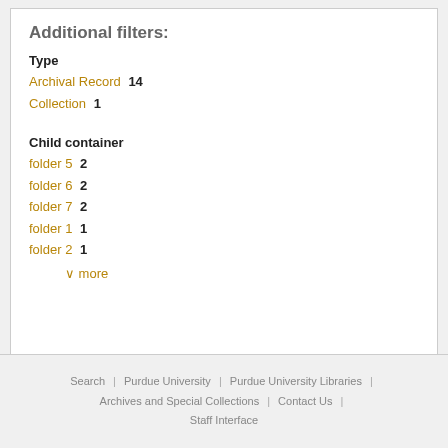Additional filters:
Type
Archival Record  14
Collection  1
Child container
folder 5  2
folder 6  2
folder 7  2
folder 1  1
folder 2  1
v  more
Search  |  Purdue University  |  Purdue University Libraries  |  Archives and Special Collections  |  Contact Us  |  Staff Interface